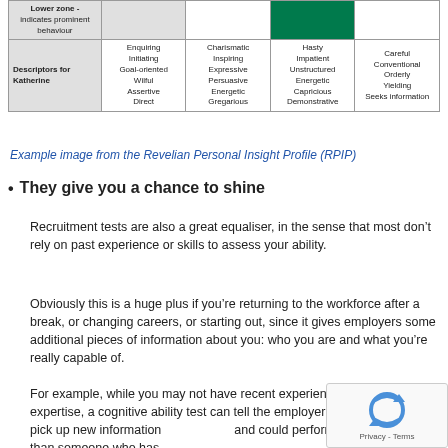|  | Col1 | Col2 | Col3 | Col4 |
| --- | --- | --- | --- | --- |
| Lower zone - indicates prominent behaviour |  |  | [green] |  |
| Descriptors for Katherine | Enquiring
Initiating
Goal-oriented
Wilful
Assertive
Direct | Charismatic
Inspiring
Expressive
Persuasive
Energetic
Gregarious | Hasty
Impatient
Unstructured
Energetic
Capricious
Demonstrative | Careful
Conventional
Orderly
Yielding
Seeks information |
Example image from the Revelian Personal Insight Profile (RPIP)
They give you a chance to shine
Recruitment tests are also a great equaliser, in the sense that most don’t rely on past experience or skills to assess your ability.
Obviously this is a huge plus if you’re returning to the workforce after a break, or changing careers, or starting out, since it gives employers some additional pieces of information about you: who you are and what you’re really capable of.
For example, while you may not have recent experience in your field of expertise, a cognitive ability test can tell the employer that you’re likely to pick up new information and could perform more effectively than someone who has